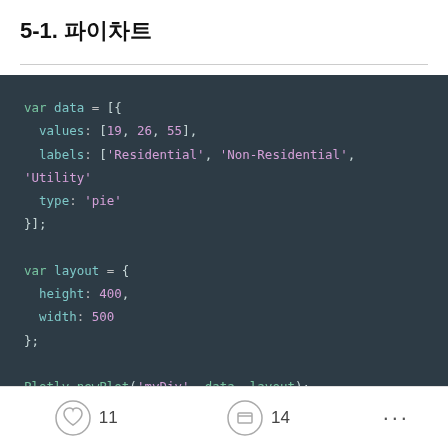5-1. 파이차트
var data = [{
  values: [19, 26, 55],
  labels: ['Residential', 'Non-Residential', 'Utility'
  type: 'pie'
}];

var layout = {
  height: 400,
  width: 500
};

Plotly.newPlot('myDiv', data, layout);
11  14  ...